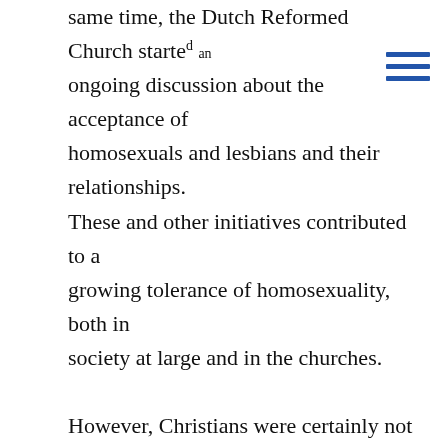same time, the Dutch Reformed Church started an ongoing discussion about the acceptance of homosexuals and lesbians and their relationships. These and other initiatives contributed to a growing tolerance of homosexuality, both in society at large and in the churches.

However, Christians were certainly not only supportive. In 1981, a draft bill for an Equal Treatment Act was introduced. This bill provoked strong protests from the religious right wing, as it implied that a Christian school would not be allowed to fire a teacher for being lesbian. Orthodox Protestant and Evangelical groups, until the…